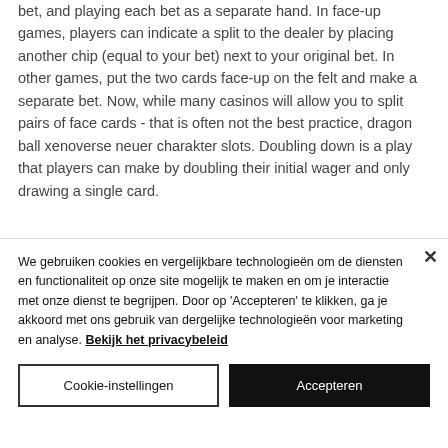bet, and playing each bet as a separate hand. In face-up games, players can indicate a split to the dealer by placing another chip (equal to your bet) next to your original bet. In other games, put the two cards face-up on the felt and make a separate bet. Now, while many casinos will allow you to split pairs of face cards - that is often not the best practice, dragon ball xenoverse neuer charakter slots. Doubling down is a play that players can make by doubling their initial wager and only drawing a single card.
We gebruiken cookies en vergelijkbare technologieën om de diensten en functionaliteit op onze site mogelijk te maken en om je interactie met onze dienst te begrijpen. Door op 'Accepteren' te klikken, ga je akkoord met ons gebruik van dergelijke technologieën voor marketing en analyse. Bekijk het privacybeleid